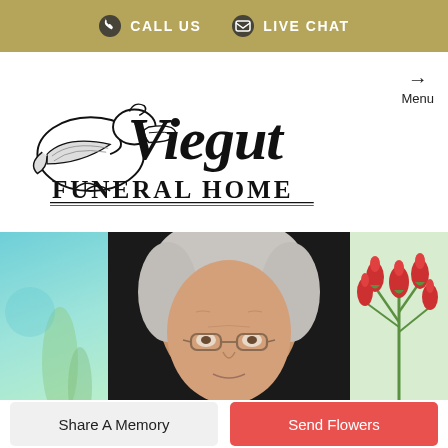CALL US   LIVE CHAT
[Figure (logo): Viegut Funeral Home logo with pelican illustration and decorative script text]
[Figure (photo): Three-panel photo strip: left panel with teal/green blurred background, center panel showing elderly woman with short white/gray hair and glasses against dark background, right panel showing red flower buds on green stems]
Share A Memory
Send Flowers